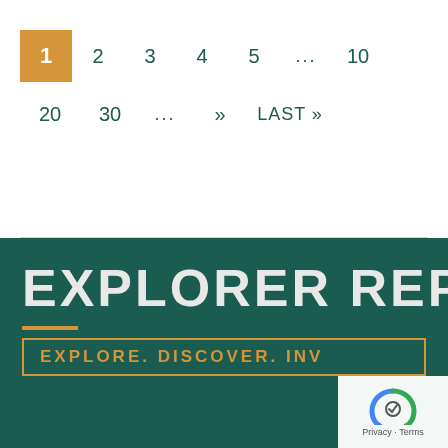1  2  3  4  5  ...  10  20  30  ...  »  LAST »
[Figure (other): Explorer Report banner with dark teal background, large white text 'EXPLORER REPORT', gold underline, and gold-bordered tagline box reading 'EXPLORE. DISCOVER. INV...']